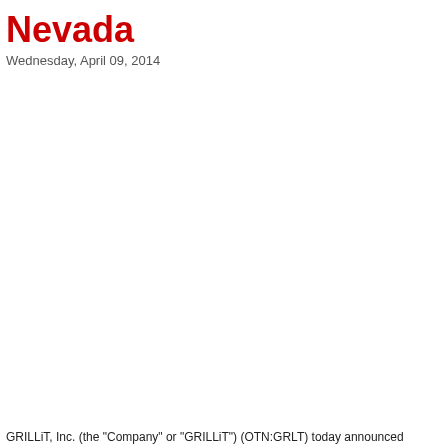Nevada
Wednesday, April 09, 2014
GRILLiT, Inc. (the "Company" or "GRILLiT") (OTN:GRLT) today announced